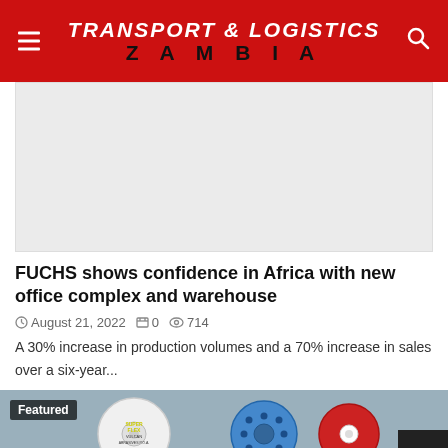TRANSPORT & LOGISTICS ZAMBIA
[Figure (other): Advertisement placeholder block, light gray background]
FUCHS shows confidence in Africa with new office complex and warehouse
August 21, 2022   0   714
A 30% increase in production volumes and a 70% increase in sales over a six-year...
[Figure (photo): Featured product image showing SuperFlex abrasive discs including a white diamond blade, blue sanding pad, and red disc. 'Featured' label overlay in top-left corner.]